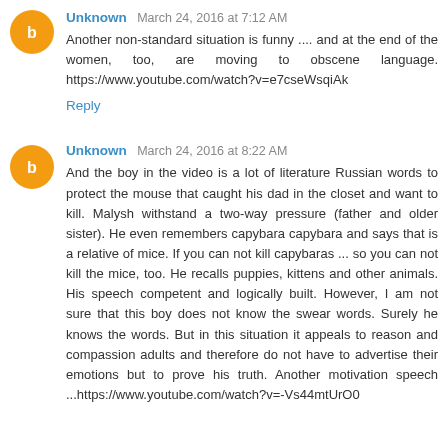Unknown March 24, 2016 at 7:12 AM
Another non-standard situation is funny .... and at the end of the women, too, are moving to obscene language. https://www.youtube.com/watch?v=e7cseWsqiAk
Reply
Unknown March 24, 2016 at 8:22 AM
And the boy in the video is a lot of literature Russian words to protect the mouse that caught his dad in the closet and want to kill. Malysh withstand a two-way pressure (father and older sister). He even remembers capybara capybara and says that is a relative of mice. If you can not kill capybaras ... so you can not kill the mice, too. He recalls puppies, kittens and other animals. His speech competent and logically built. However, I am not sure that this boy does not know the swear words. Surely he knows the words. But in this situation it appeals to reason and compassion adults and therefore do not have to advertise their emotions but to prove his truth. Another motivation speech ...https://www.youtube.com/watch?v=-Vs44mtUrO0